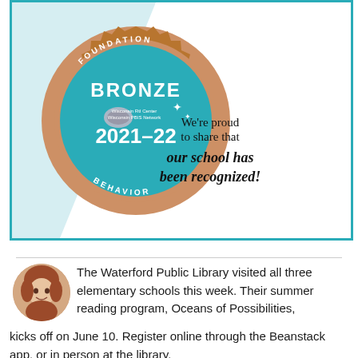[Figure (illustration): Bronze award badge for Wisconsin RtI Center / Wisconsin PBIS Network Foundation of Behavior 2021-22, displayed on a light blue background with diagonal white section. Text reads 'We're proud to share that our school has been recognized!']
[Figure (photo): Circular headshot photo of a smiling young woman with reddish-brown hair]
The Waterford Public Library visited all three elementary schools this week. Their summer reading program, Oceans of Possibilities, kicks off on June 10. Register online through the Beanstack app, or in person at the library.